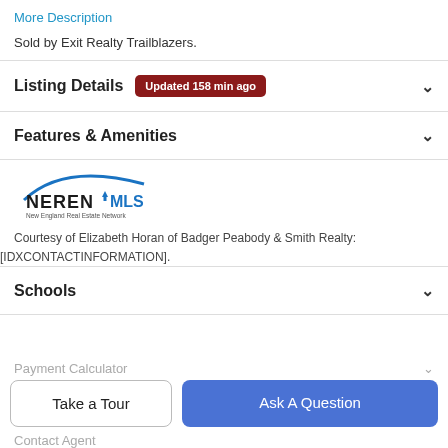More Description
Sold by Exit Realty Trailblazers.
Listing Details  Updated 158 min ago
Features & Amenities
[Figure (logo): NEREN MLS – New England Real Estate Network logo]
Courtesy of Elizabeth Horan of Badger Peabody & Smith Realty: [IDXCONTACTINFORMATION].
Schools
Payment Calculator
Take a Tour
Ask A Question
Contact Agent